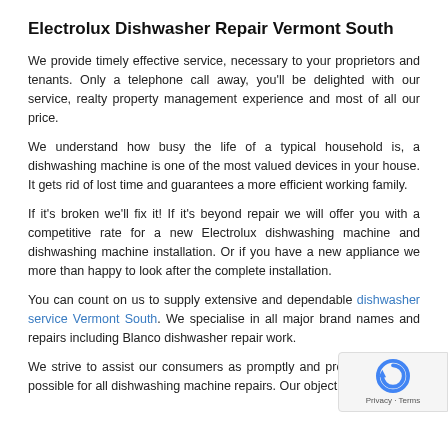Electrolux Dishwasher Repair Vermont South
We provide timely effective service, necessary to your proprietors and tenants. Only a telephone call away, you'll be delighted with our service, realty property management experience and most of all our price.
We understand how busy the life of a typical household is, a dishwashing machine is one of the most valued devices in your house. It gets rid of lost time and guarantees a more efficient working family.
If it's broken we'll fix it! If it's beyond repair we will offer you with a competitive rate for a new Electrolux dishwashing machine and dishwashing machine installation. Or if you have a new appliance we more than happy to look after the complete installation.
You can count on us to supply extensive and dependable dishwasher service Vermont South. We specialise in all major brand names and repairs including Blanco dishwasher repair work.
We strive to assist our consumers as promptly and professionally as possible for all dishwashing machine repairs. Our objective is to...